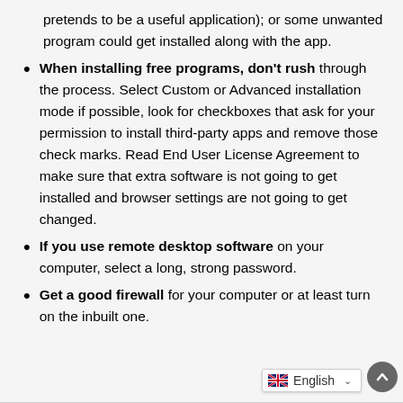pretends to be a useful application); or some unwanted program could get installed along with the app.
When installing free programs, don't rush through the process. Select Custom or Advanced installation mode if possible, look for checkboxes that ask for your permission to install third-party apps and remove those check marks. Read End User License Agreement to make sure that extra software is not going to get installed and browser settings are not going to get changed.
If you use remote desktop software on your computer, select a long, strong password.
Get a good firewall for your computer or at least turn on the inbuilt one.